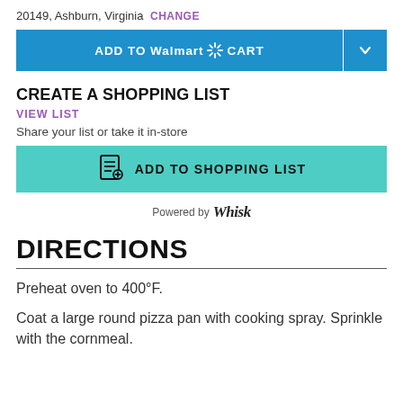20149, Ashburn, Virginia CHANGE
[Figure (screenshot): Blue 'ADD TO Walmart CART' button with dropdown arrow]
CREATE A SHOPPING LIST
VIEW LIST
Share your list or take it in-store
[Figure (screenshot): Teal 'ADD TO SHOPPING LIST' button with list icon]
Powered by Whisk
DIRECTIONS
Preheat oven to 400°F.
Coat a large round pizza pan with cooking spray. Sprinkle with the cornmeal.